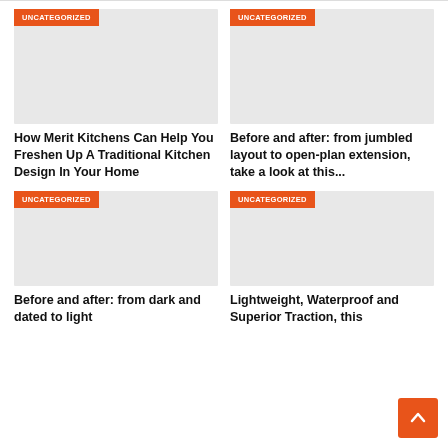[Figure (photo): Gray placeholder image with UNCATEGORIZED badge - top left card]
How Merit Kitchens Can Help You Freshen Up A Traditional Kitchen Design In Your Home
[Figure (photo): Gray placeholder image with UNCATEGORIZED badge - top right card]
Before and after: from jumbled layout to open-plan extension, take a look at this...
[Figure (photo): Gray placeholder image with UNCATEGORIZED badge - bottom left card]
Before and after: from dark and dated to light
[Figure (photo): Gray placeholder image with UNCATEGORIZED badge - bottom right card]
Lightweight, Waterproof and Superior Traction, this